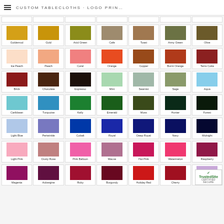CUSTOM TABLECLOTHS · LOGO PRIN…
[Figure (other): Color swatch grid showing fabric colors for custom tablecloths. Rows include: Row 1 (partial, cut off at top): 7 swatches. Row 2: Goldenrod, Gold, Acid Green, Cafe, Toast, Army Green, Olive. Row 3: Ice Peach, Peach, Coral, Orange, Copper, Burnt Orange, Terra Cotta. Row 4: Brick, Chocolate, Espresso, Mint, Seamist, Sage, Aqua. Row 5: Caribbean, Turquoise, Kelly, Emerald, Moss, Hunter, Forest. Row 6: Light Blue, Periwinkle, Cobalt, Royal, Deep Royal, Navy, Midnight. Row 7: Light Pink, Dusty Rose, Pink Balloon, Mauve, Hot Pink, Watermelon, Raspberry. Row 8 (partial): Magenta, Aubergine, Ruby, Burgundy, Holiday Red, Cherry, (TrustedSite badge).]